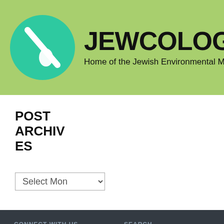[Figure (logo): Jewcology.org logo: green circle with white water drop and slash mark, next to bold text JEWCOLOGY.ORG and subtitle Home of the Jewish Environmental Movement on a light green banner background]
POST ARCHIVES
Select Month dropdown
CONNECT WITH US
[Figure (illustration): Four social media icons: Twitter (blue), Facebook (dark blue), RSS (orange), Jewcology (teal green)]
SEARCH
Search...
THE FINE PRINT
Jewcology is a project of Aytzim
TOP